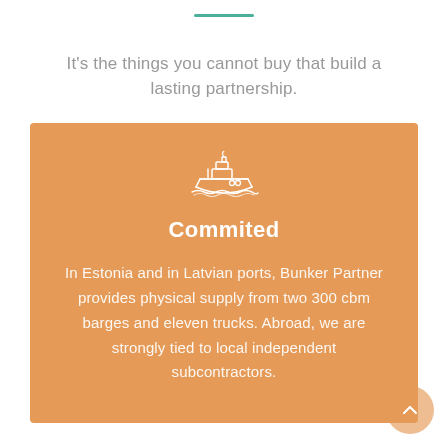It's the things you cannot buy that build a lasting partnership.
[Figure (illustration): White outline icon of a cargo/bunker ship on an orange background]
Commited
In Estonia and in Latvian ports, Bunker Partner provides physical supply from two 300 cbm barges and eleven trucks. Abroad, we are strongly tied to local independent subcontractors.